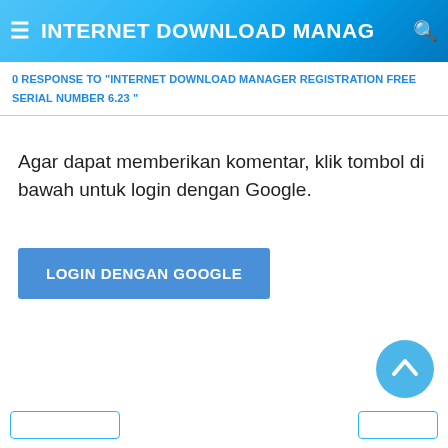INTERNET DOWNLOAD MANAG
0 RESPONSE TO "INTERNET DOWNLOAD MANAGER REGISTRATION FREE SERIAL NUMBER 6.23 "
Agar dapat memberikan komentar, klik tombol di bawah untuk login dengan Google.
LOGIN DENGAN GOOGLE